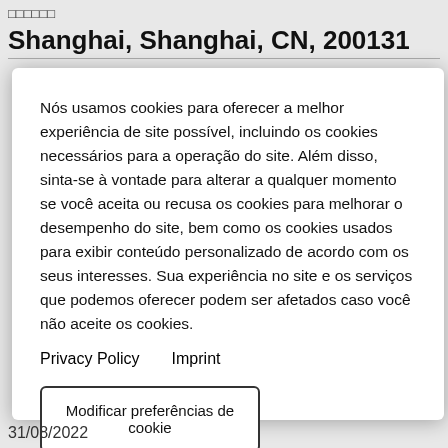□□□□□□
Shanghai, Shanghai, CN, 200131
Nós usamos cookies para oferecer a melhor experiência de site possível, incluindo os cookies necessários para a operação do site. Além disso, sinta-se à vontade para alterar a qualquer momento se você aceita ou recusa os cookies para melhorar o desempenho do site, bem como os cookies usados para exibir conteúdo personalizado de acordo com os seus interesses. Sua experiência no site e os serviços que podemos oferecer podem ser afetados caso você não aceite os cookies.
Privacy Policy    Imprint
Modificar preferências de cookie
Aceitar todos os cookies
31/08/2022